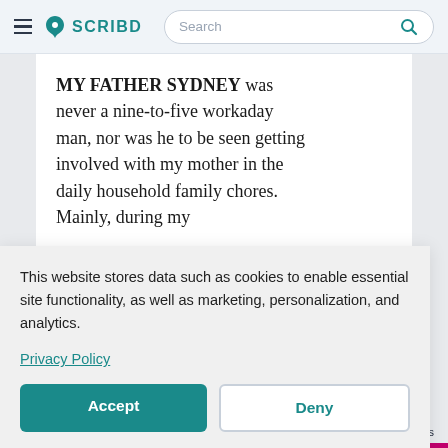SCRIBD — Search
MY FATHER SYDNEY was never a nine-to-five workaday man, nor was he to be seen getting involved with my mother in the daily household family chores. Mainly, during my
hes,
is
emory
hoes
ring
e
This website stores data such as cookies to enable essential site functionality, as well as marketing, personalization, and analytics.
Privacy Policy
Accept
Deny
Documents